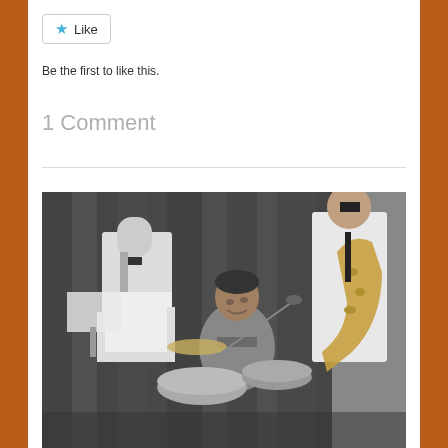Like
Be the first to like this.
1 Comment
[Figure (photo): Black and white photograph of musicians performing. A man sits at a drum kit in the foreground looking up, while behind him a musician in a white suit plays saxophone on the right side, and another musician in a white suit stands to the left.]